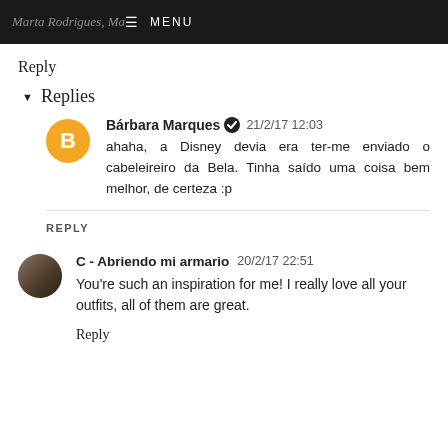Marta Rodrigues, Ma… ☰ MENU
Reply
▾ Replies
Bárbara Marques ✔ 21/2/17 12:03
ahaha, a Disney devia era ter-me enviado o cabeleireiro da Bela. Tinha saído uma coisa bem melhor, de certeza :p
REPLY
C - Abriendo mi armario 20/2/17 22:51
You're such an inspiration for me! I really love all your outfits, all of them are great.
Reply